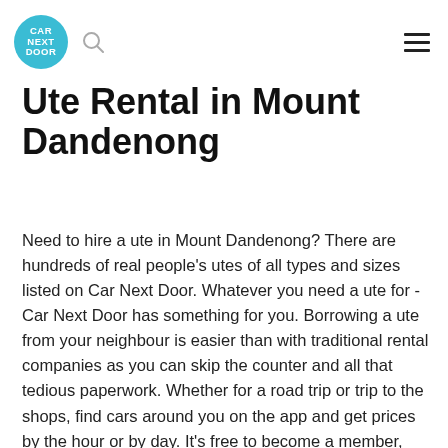CAR NEXT DOOR
Ute Rental in Mount Dandenong
Need to hire a ute in Mount Dandenong? There are hundreds of real people's utes of all types and sizes listed on Car Next Door. Whatever you need a ute for - Car Next Door has something for you. Borrowing a ute from your neighbour is easier than with traditional rental companies as you can skip the counter and all that tedious paperwork. Whether for a road trip or trip to the shops, find cars around you on the app and get prices by the hour or by day. It's free to become a member, and because the keys are at the vehicle, you can skip the rental counter and get instant access to your ute.